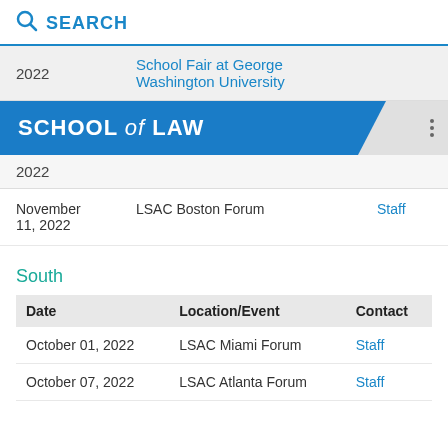SEARCH
|  |  |
| --- | --- |
| 2022 | School Fair at George Washington University |
[Figure (logo): School of Law banner with blue background and three-dot menu icon]
2022
|  |  |  |
| --- | --- | --- |
| November 11, 2022 | LSAC Boston Forum | Staff |
South
| Date | Location/Event | Contact |
| --- | --- | --- |
| October 01, 2022 | LSAC Miami Forum | Staff |
| October 07, 2022 | LSAC Atlanta Forum | Staff |